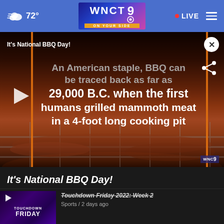WNCT 9 ON YOUR SIDE — 72° — LIVE
[Figure (screenshot): Video player showing BBQ ribs on a grill with text overlay: It's National BBQ Day! An American staple, BBQ can be traced back as far as 29,000 B.C. when the first humans grilled mammoth meat in a 4-foot long cooking pit]
It's National BBQ Day!
[Figure (screenshot): Thumbnail for Touchdown Friday 2022: Week 2 video]
Touchdown Friday 2022: Week 2
Sports / 2 days ago